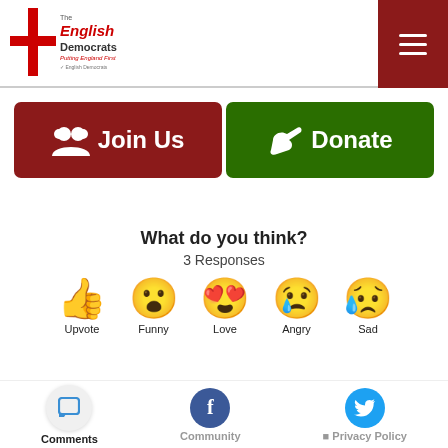[Figure (logo): English Democrats party logo with red cross and text 'The English Democrats - Putting England First']
[Figure (other): Dark red hamburger menu icon (three horizontal lines)]
[Figure (other): Join Us button (dark red background, white people icon) and Donate button (dark green background, handshake icon)]
What do you think?
3 Responses
[Figure (infographic): Five emoji reaction icons: thumbs up (Upvote), surprised face (Funny), heart eyes (Love), crying angry face (Angry), sad face with tear (Sad)]
Comments  Community  Privacy Policy